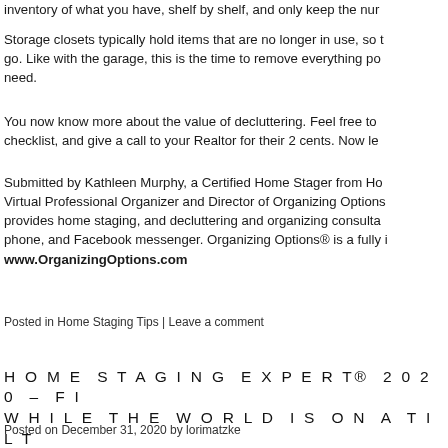inventory of what you have, shelf by shelf, and only keep the num
Storage closets typically hold items that are no longer in use, so t go. Like with the garage, this is the time to remove everything po need.
You now know more about the value of decluttering. Feel free to checklist, and give a call to your Realtor for their 2 cents. Now le
Submitted by Kathleen Murphy, a Certified Home Stager from Ho Virtual Professional Organizer and Director of Organizing Options provides home staging, and decluttering and organizing consulta phone, and Facebook messenger. Organizing Options® is a fully i www.OrganizingOptions.com
Posted in Home Staging Tips | Leave a comment
HOME STAGING EXPERT® 2020 – FI WHILE THE WORLD IS ON A TILT
Posted on December 31, 2020 by lorimatzke